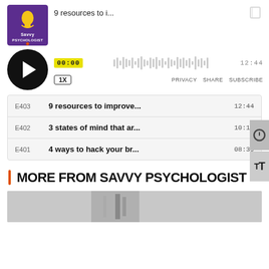[Figure (screenshot): Podcast thumbnail for Savvy Psychologist with purple background and lightbulb icon]
9 resources to i...
[Figure (screenshot): Audio player with play button, waveform, timestamp 00:00, end time 12:44, speed 1X, PRIVACY SHARE SUBSCRIBE links]
| Episode | Title | Duration |
| --- | --- | --- |
| E403 | 9 resources to improve... | 12:44 |
| E402 | 3 states of mind that ar... | 10:13 |
| E401 | 4 ways to hack your br... | 08:39 |
MORE FROM SAVVY PSYCHOLOGIST
[Figure (photo): Partial photo at bottom of page]